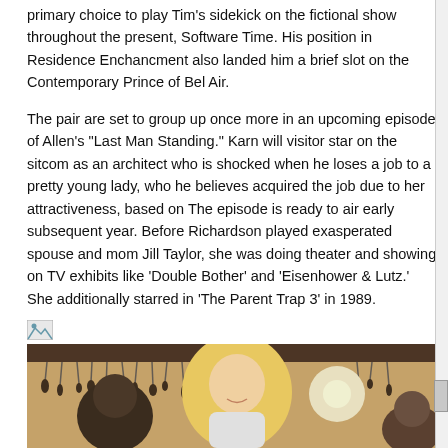primary choice to play Tim's sidekick on the fictional show throughout the present, Software Time. His position in Residence Enchancment also landed him a brief slot on the Contemporary Prince of Bel Air.
The pair are set to group up once more in an upcoming episode of Allen's "Last Man Standing." Karn will visitor star on the sitcom as an architect who is shocked when he loses a job to a pretty young lady, who he believes acquired the job due to her attractiveness, based on The episode is ready to air early subsequent year. Before Richardson played exasperated spouse and mom Jill Taylor, she was doing theater and showing on TV exhibits like 'Double Bother' and 'Eisenhower & Lutz.' She additionally starred in 'The Parent Trap 3' in 1989.
[Figure (photo): Photo showing people, appears to be a scene from a TV show or promotional image with a blonde woman in the center and other people around her, set in what appears to be a kitchen or workshop environment with hanging items in the background.]